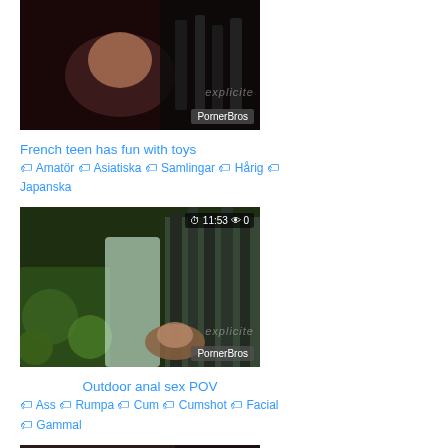[Figure (photo): Video thumbnail for 'French teen has fun with toys' showing dark scene with PornerBros watermark]
French teen has fun with toys
🏷 Amatör 🏷 Asiatiska 🏷 Samlingar 🏷 Hårig 🏷 Japanska
[Figure (photo): Video thumbnail for 'Outdoor anal sex POV' showing outdoor scene, duration 11:53, 0 views, PornerBros watermark]
Outdoor anal sex POV
🏷 Ass 🏷 Rumpa 🏷 Cum 🏷 Cumshot 🏷 Facial 🏷 Gammal
[Figure (photo): Video thumbnail showing pink-haired person, duration 06:20, 4 views]